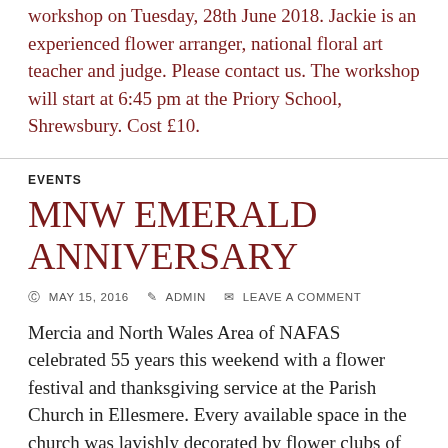workshop on Tuesday, 28th June 2018. Jackie is an experienced flower arranger, national floral art teacher and judge. Please contact us. The workshop will start at 6:45 pm at the Priory School, Shrewsbury. Cost £10.
EVENTS
MNW EMERALD ANNIVERSARY
MAY 15, 2016   ADMIN   LEAVE A COMMENT
Mercia and North Wales Area of NAFAS celebrated 55 years this weekend with a flower festival and thanksgiving service at the Parish Church in Ellesmere. Every available space in the church was lavishly decorated by flower clubs of MNW area